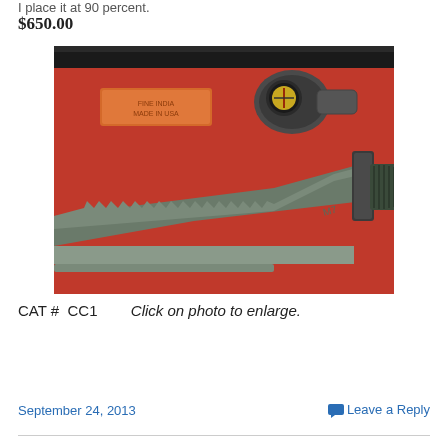I place it at 90 percent.
$650.00
[Figure (photo): A military-style knife with serrated blade laid on pink/red background, with an orange sharpening stone and a compass/scope attachment visible above the blade. The knife has a knurled handle and guard.]
CAT #  CC1        Click on photo to enlarge.
September 24, 2013
Leave a Reply